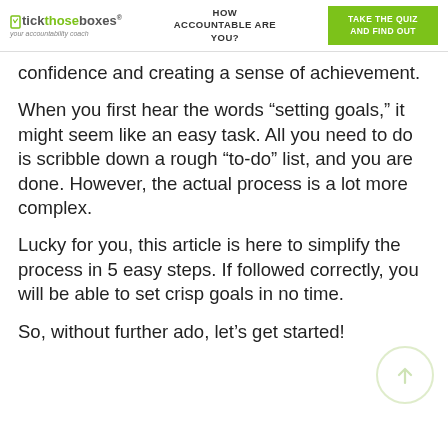tick those boxes® — your accountability coach | HOW ACCOUNTABLE ARE YOU? | TAKE THE QUIZ AND FIND OUT
confidence and creating a sense of achievement.
When you first hear the words “setting goals,” it might seem like an easy task. All you need to do is scribble down a rough “to-do” list, and you are done. However, the actual process is a lot more complex.
Lucky for you, this article is here to simplify the process in 5 easy steps. If followed correctly, you will be able to set crisp goals in no time.
So, without further ado, let’s get started!